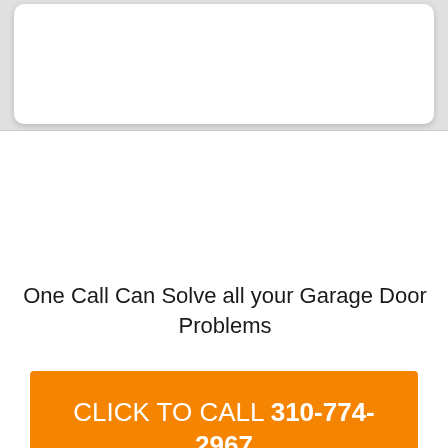[Figure (other): White card area at top of page]
One Call Can Solve all your Garage Door Problems
[Figure (other): Orange call-to-action button with text: CLICK TO CALL 310-774-2967]
Tag Archives: Garage Door Panel Repair Costs Santa Monica CA